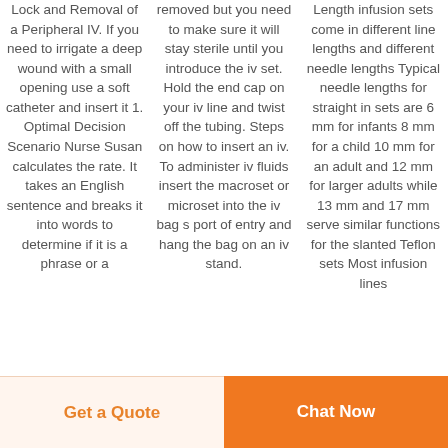Lock and Removal of a Peripheral IV. If you need to irrigate a deep wound with a small opening use a soft catheter and insert it 1. Optimal Decision Scenario Nurse Susan calculates the rate. It takes an English sentence and breaks it into words to determine if it is a phrase or a
removed but you need to make sure it will stay sterile until you introduce the iv set. Hold the end cap on your iv line and twist off the tubing. Steps on how to insert an iv. To administer iv fluids insert the macroset or microset into the iv bag s port of entry and hang the bag on an iv stand.
Length infusion sets come in different line lengths and different needle lengths Typical needle lengths for straight in sets are 6 mm for infants 8 mm for a child 10 mm for an adult and 12 mm for larger adults while 13 mm and 17 mm serve similar functions for the slanted Teflon sets Most infusion lines
Get a Quote
Chat Now